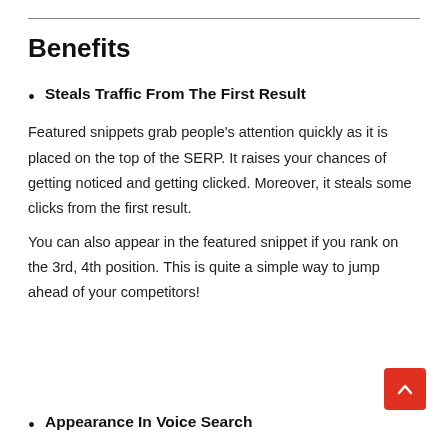Benefits
Steals Traffic From The First Result
Featured snippets grab people’s attention quickly as it is placed on the top of the SERP. It raises your chances of getting noticed and getting clicked. Moreover, it steals some clicks from the first result.
You can also appear in the featured snippet if you rank on the 3rd, 4th position. This is quite a simple way to jump ahead of your competitors!
Appearance In Voice Search